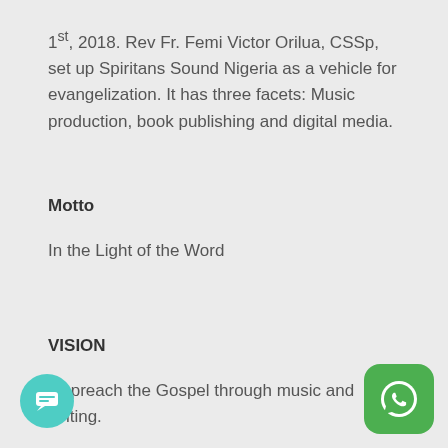1st, 2018. Rev Fr. Femi Victor Orilua, CSSp, set up Spiritans Sound Nigeria as a vehicle for evangelization. It has three facets: Music production, book publishing and digital media.
Motto
In the Light of the Word
VISION
To preach the Gospel through music and writing.